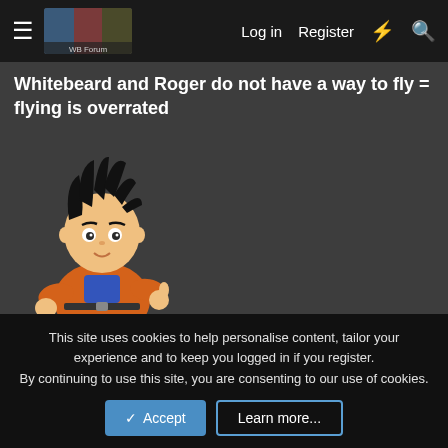Log in  Register
Whitebeard and Roger do not have a way to fly = flying is overrated
[Figure (illustration): Anime avatar illustration of Goku (Dragon Ball character) with black spiky hair, orange gi, giving thumbs up]
mly90, Daikenki, Nel-Zel fiasco and 16 others
Echizen_Jo_Ndule
One Piece sucks
This site uses cookies to help personalise content, tailor your experience and to keep you logged in if you register.
By continuing to use this site, you are consenting to our use of cookies.